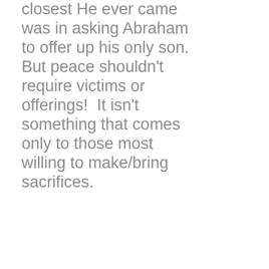closest He ever came was in asking Abraham to offer up his only son.  But peace shouldn't require victims or offerings!  It isn't something that comes only to those most willing to make/bring sacrifices.
The meek will inherit only what the strong allow... and not a scintilla more.
Israel needs to set aside mis-applied prophesies of peace being miraculously achieved by 'beating our swords...